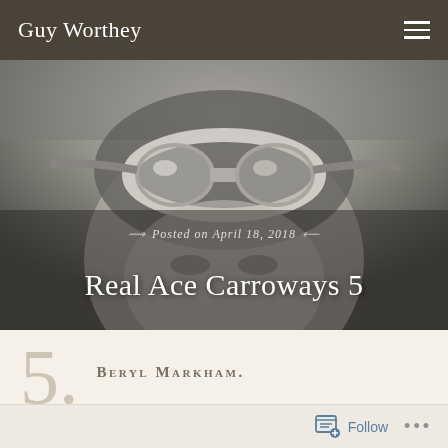Guy Worthey
[Figure (photo): Black and white photograph of a person (likely Beryl Markham) wearing aviator goggles pushed up on their forehead, with decorative text overlay reading 'Posted on April 18, 2018' and title 'Real Ace Carroways 5']
Real Ace Carroways 5
Posted on April 18, 2018
Beryl Markham.
Fictional heroine Ace Carroway loves to fly and faces